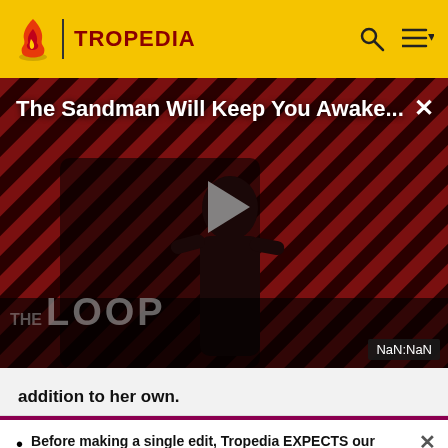TROPEDIA
[Figure (screenshot): Video player showing 'The Sandman Will Keep You Awake...' with a dark figure in black against a red/black diagonal striped background. Play button visible in center. 'THE LOOP' text at bottom. NaN:NaN timer displayed at bottom right.]
addition to her own.
Before making a single edit, Tropedia EXPECTS our site policy and manual of style to be followed. Failure to do so may
READ MORE